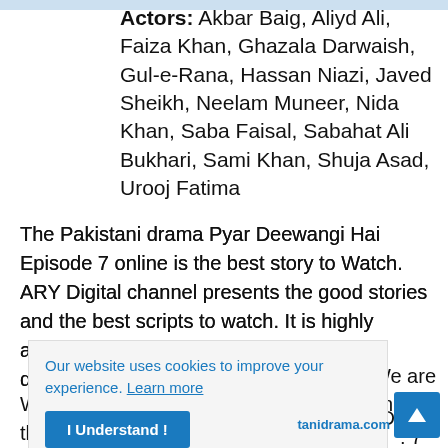Actors: Akbar Baig, Aliyd Ali, Faiza Khan, Ghazala Darwaish, Gul-e-Rana, Hassan Niazi, Javed Sheikh, Neelam Muneer, Nida Khan, Saba Faisal, Sabahat Ali Bukhari, Sami Khan, Shuja Asad, Urooj Fatima
The Pakistani drama Pyar Deewangi Hai Episode 7 online is the best story to Watch. ARY Digital channel presents the good stories and the best scripts to watch. It is highly appreciated that ARY Digital presents the drama stories that we can watch with our family without any hesitation. We are sharing here the Pyar Deewangi Hai Episode 7 ARY Digital drama video. We hope that you will enjoy watching this drama.
Our website uses cookies to improve your experience. Learn more
I Understand !
tanidrama.com
We hope that you will entertain by watching this